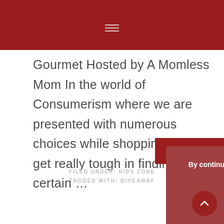Gourmet Hosted by A Momless Mom In the world of Consumerism where we are presented with numerous choices while shopping, it could get really tough in finding a certain ...
READ THE POST
By continuing to use the site, you agree to the use of cookies. more information ACCEPT
FILED UNDER: KIDS ZONE
TAGGED WITH: GIVEAWAY